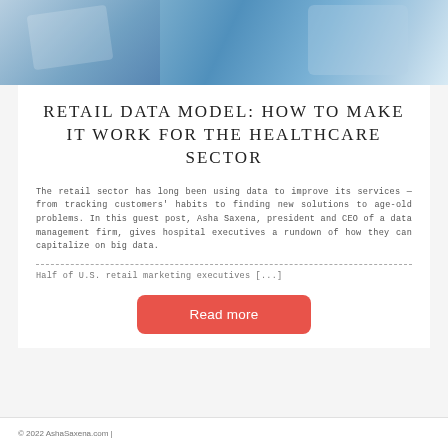[Figure (photo): Medical/healthcare themed photo with blue tones, showing medical equipment or setting]
RETAIL DATA MODEL: HOW TO MAKE IT WORK FOR THE HEALTHCARE SECTOR
The retail sector has long been using data to improve its services — from tracking customers' habits to finding new solutions to age-old problems. In this guest post, Asha Saxena, president and CEO of a data management firm, gives hospital executives a rundown of how they can capitalize on big data.
Half of U.S. retail marketing executives [...]
© 2022 AshaSaxena.com |